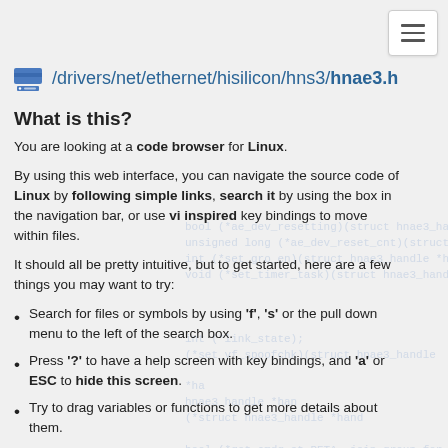/drivers/net/ethernet/hisilicon/hns3/hnae3.h
What is this?
You are looking at a code browser for Linux.
By using this web interface, you can navigate the source code of Linux by following simple links, search it by using the box in the navigation bar, or use vi inspired key bindings to move within files.
It should all be pretty intuitive, but to get started, here are a few things you may want to try:
Search for files or symbols by using 'f', 's' or the pull down menu to the left of the search box.
Press '?' to have a help screen with key bindings, and 'a' or ESC to hide this screen.
Try to drag variables or functions to get more details about them.
This site was generated via sbexr, which uses LLVM and clang to parse and index the code.